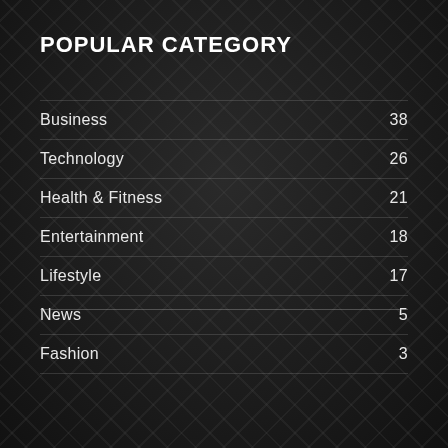POPULAR CATEGORY
Business  38
Technology  26
Health & Fitness  21
Entertainment  18
Lifestyle  17
News  5
Fashion  3